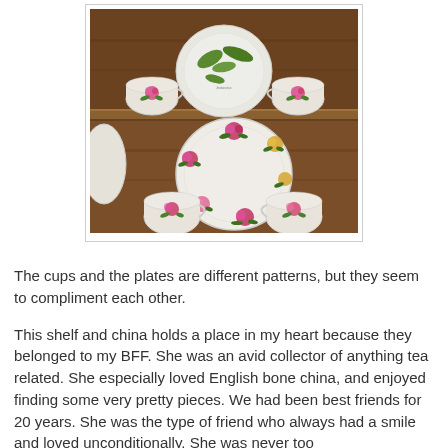[Figure (photo): A wooden display shelf holding rose-patterned china. Top shelf has two teacups with pink roses flanking a botanical plate. Bottom shelf has a large plate decorated with colorful roses and two teacups with rose patterns.]
The cups and the plates are different patterns, but they seem to compliment each other.
This shelf and china holds a place in my heart because they belonged to my BFF. She was an avid collector of anything tea related. She especially loved English bone china, and enjoyed finding some very pretty pieces. We had been best friends for 20 years. She was the type of friend who always had a smile and loved unconditionally. She was never too